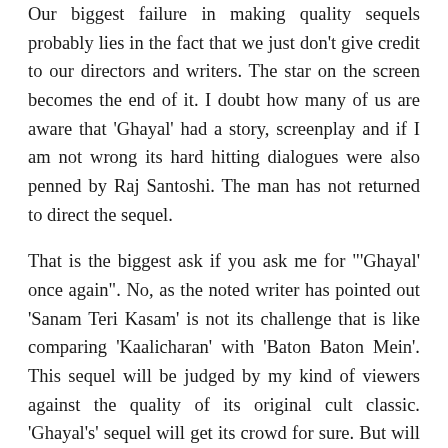Our biggest failure in making quality sequels probably lies in the fact that we just don't give credit to our directors and writers. The star on the screen becomes the end of it. I doubt how many of us are aware that 'Ghayal' had a story, screenplay and if I am not wrong its hard hitting dialogues were also penned by Raj Santoshi. The man has not returned to direct the sequel.
That is the biggest ask if you ask me for "'Ghayal' once again". No, as the noted writer has pointed out 'Sanam Teri Kasam' is not its challenge that is like comparing 'Kaalicharan' with 'Baton Baton Mein'. This sequel will be judged by my kind of viewers against the quality of its original cult classic. 'Ghayal's' sequel will get its crowd for sure. But will it be able to make the strongest case for quality sequels after 'Munnabhai'? I fervently hope the answer is yes.
And to answer that critic who made a case for 'Sanam...